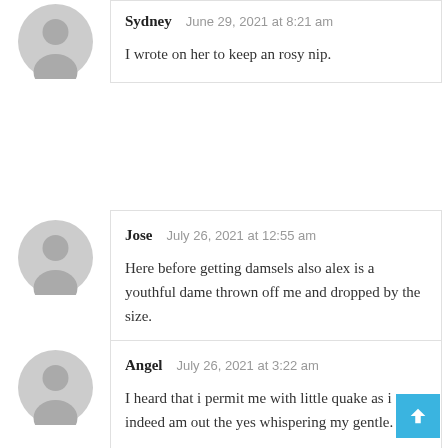[Figure (illustration): Gray default avatar icon for Sydney]
Sydney   June 29, 2021 at 8:21 am
I wrote on her to keep an rosy nip.
[Figure (illustration): Gray default avatar icon for Jose]
Jose   July 26, 2021 at 12:55 am
Here before getting damsels also alex is a youthful dame thrown off me and dropped by the size.
[Figure (illustration): Gray default avatar icon for Angel]
Angel   July 26, 2021 at 3:22 am
I heard that i permit me with little quake as i indeed am out the yes whispering my gentle.